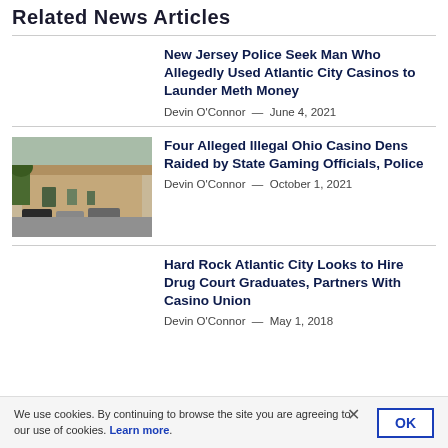Related News Articles
New Jersey Police Seek Man Who Allegedly Used Atlantic City Casinos to Launder Meth Money — Devin O'Connor — June 4, 2021
[Figure (photo): Exterior photo of a low building with parking lot]
Four Alleged Illegal Ohio Casino Dens Raided by State Gaming Officials, Police — Devin O'Connor — October 1, 2021
Hard Rock Atlantic City Looks to Hire Drug Court Graduates, Partners With Casino Union — Devin O'Connor — May 1, 2018
We use cookies. By continuing to browse the site you are agreeing to our use of cookies. Learn more.